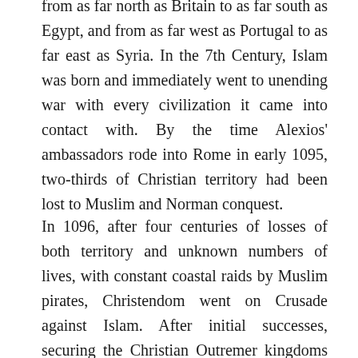from as far north as Britain to as far south as Egypt, and from as far west as Portugal to as far east as Syria. In the 7th Century, Islam was born and immediately went to unending war with every civilization it came into contact with. By the time Alexios' ambassadors rode into Rome in early 1095, two-thirds of Christian territory had been lost to Muslim and Norman conquest.
In 1096, after four centuries of losses of both territory and unknown numbers of lives, with constant coastal raids by Muslim pirates, Christendom went on Crusade against Islam. After initial successes, securing the Christian Outremer kingdoms in the Middle East, the sheer distance from Europe proved the single largest obstacle to the Crusaders. In 1291 AD,